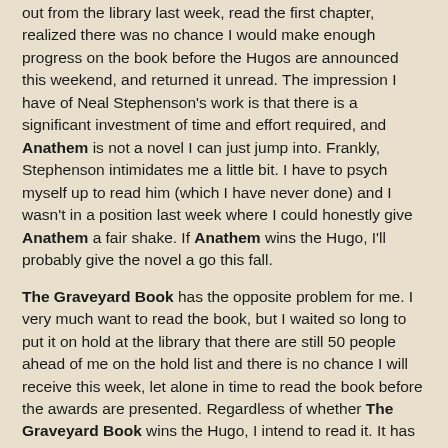out from the library last week, read the first chapter, realized there was no chance I would make enough progress on the book before the Hugos are announced this weekend, and returned it unread. The impression I have of Neal Stephenson's work is that there is a significant investment of time and effort required, and Anathem is not a novel I can just jump into. Frankly, Stephenson intimidates me a little bit. I have to psych myself up to read him (which I have never done) and I wasn't in a position last week where I could honestly give Anathem a fair shake. If Anathem wins the Hugo, I'll probably give the novel a go this fall.
The Graveyard Book has the opposite problem for me. I very much want to read the book, but I waited so long to put it on hold at the library that there are still 50 people ahead of me on the hold list and there is no chance I will receive this week, let alone in time to read the book before the awards are presented. Regardless of whether The Graveyard Book wins the Hugo, I intend to read it. It has also been nominated for the World Fantasy Award, so that's double motivation to read the book.
I suspect that Coraline and Little Brother will be the...